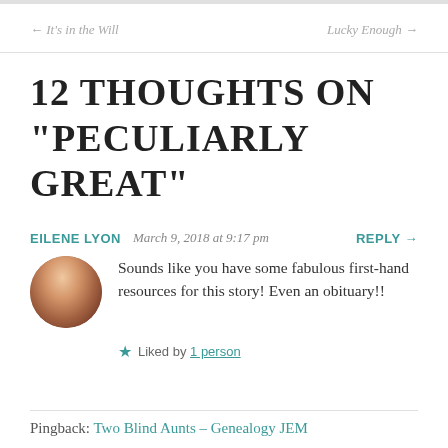← It's in the Will   Lucky Enough →
12 THOUGHTS ON "PECULIARLY GREAT"
EILENE LYON   March 9, 2018 at 9:17 pm   REPLY →
Sounds like you have some fabulous first-hand resources for this story! Even an obituary!!
★ Liked by 1 person
Pingback: Two Blind Aunts – Genealogy JEM